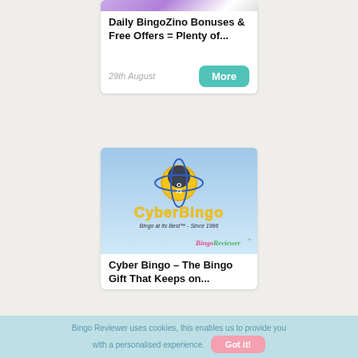[Figure (screenshot): Top portion of a bingo site card with purple/pink gradient image strip at top]
Daily BingoZino Bonuses & Free Offers = Plenty of...
29th August
[Figure (logo): CyberBingo logo - bingo ball with orbit rings, yellow/blue globe, text 'CYBERBINGO Bingo at its Best - Since 1996' and Bingo Reviewer badge]
Cyber Bingo – The Bingo Gift That Keeps on...
Bingo Reviewer uses cookies, this enables us to provide you with a personalised experience.